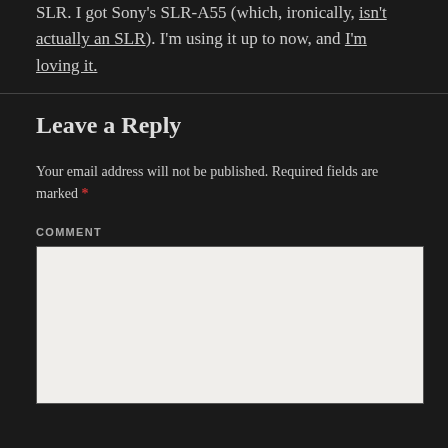SLR. I got Sony's SLR-A55 (which, ironically, isn't actually an SLR). I'm using it up to now, and I'm loving it.
Leave a Reply
Your email address will not be published. Required fields are marked *
COMMENT